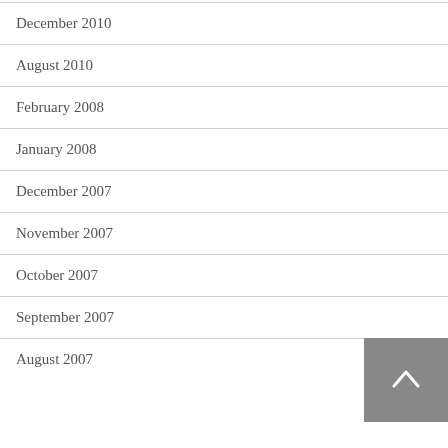December 2010
August 2010
February 2008
January 2008
December 2007
November 2007
October 2007
September 2007
August 2007